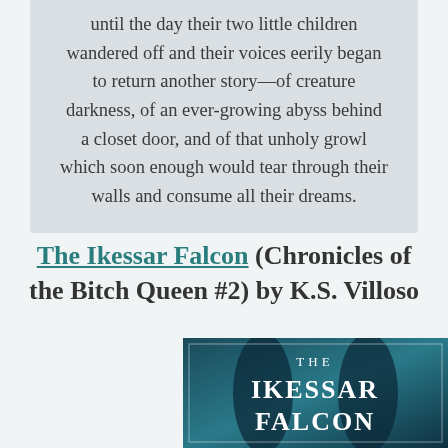until the day their two little children wandered off and their voices eerily began to return another story—of creature darkness, of an ever-growing abyss behind a closet door, and of that unholy growl which soon enough would tear through their walls and consume all their dreams.
The Ikessar Falcon (Chronicles of the Bitch Queen #2) by K.S. Villoso
[Figure (illustration): Book cover of The Ikessar Falcon showing large stylized white serif text 'THE IKESSAR FALCON' on a dark teal/blue atmospheric background]